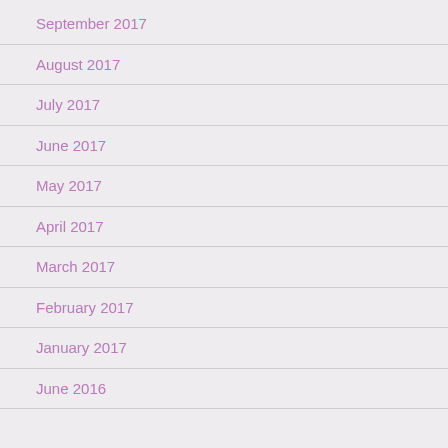September 2017
August 2017
July 2017
June 2017
May 2017
April 2017
March 2017
February 2017
January 2017
June 2016